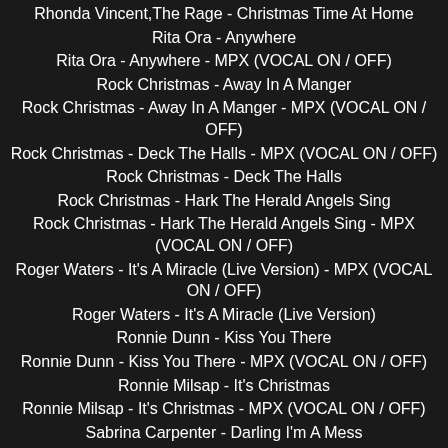Rhonda Vincent,The Rage - Christmas Time At Home
Rita Ora - Anywhere
Rita Ora - Anywhere - MPX (VOCAL ON / OFF)
Rock Christmas - Away In A Manger
Rock Christmas - Away In A Manger - MPX (VOCAL ON / OFF)
Rock Christmas - Deck The Halls - MPX (VOCAL ON / OFF)
Rock Christmas - Deck The Halls
Rock Christmas - Hark The Herald Angels Sing
Rock Christmas - Hark The Herald Angels Sing - MPX (VOCAL ON / OFF)
Roger Waters - It's A Miracle (Live Version) - MPX (VOCAL ON / OFF)
Roger Waters - It's A Miracle (Live Version)
Ronnie Dunn - Kiss You There
Ronnie Dunn - Kiss You There - MPX (VOCAL ON / OFF)
Ronnie Milsap - It's Christmas
Ronnie Milsap - It's Christmas - MPX (VOCAL ON / OFF)
Sabrina Carpenter - Darling I'm A Mess
Sabrina Carpenter - Darling I'm A Mess - MPX (VOCAL ON / OFF)
Saint Mesa - Lion - MPX (VOCAL ON / OFF)